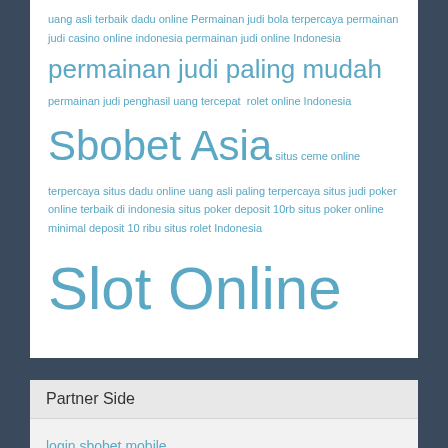uang asli terbaik dadu online Permainan judi bola terpercaya permainan judi casino online indonesia permainan judi online Indonesia permainan judi paling mudah permainan judi penghasil uang tercepat rolet online Indonesia Sbobet Asia situs ceme online terpercaya situs dadu online uang asli paling terpercaya situs judi poker online terbaik di indonesia situs poker deposit 10rb situs poker online minimal deposit 10 ribu situs rolet Indonesia Slot Online
Partner Side
login sbobet mobile
sbo win
gabungsbo com
Sbobet Indonesia